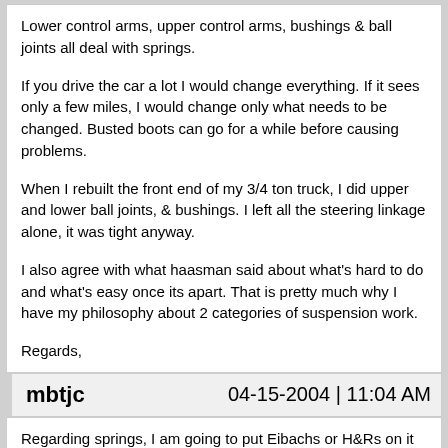Lower control arms, upper control arms, bushings & ball joints all deal with springs.
If you drive the car a lot I would change everything. If it sees only a few miles, I would change only what needs to be changed. Busted boots can go for a while before causing problems.
When I rebuilt the front end of my 3/4 ton truck, I did upper and lower ball joints, & bushings. I left all the steering linkage alone, it was tight anyway.
I also agree with what haasman said about what's hard to do and what's easy once its apart. That is pretty much why I have my philosophy about 2 categories of suspension work.
Regards,
mbtjc   04-15-2004 | 11:04 AM
Regarding springs, I am going to put Eibachs or H&Rs on it while I'm doing this (I hope a spring compressor from AutoZone will work!). So granted I do it all, the whole front suspension will come apart.